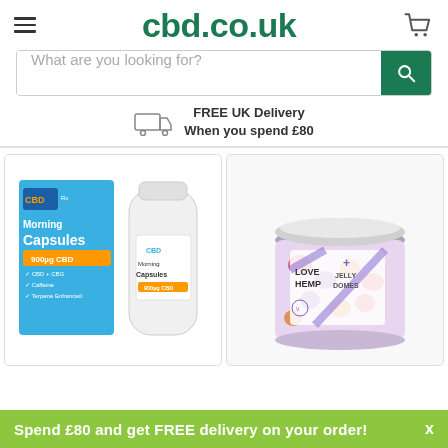cbd.co.uk
What are you looking for?
FREE UK Delivery
When you spend £80
[Figure (photo): CBD Morning Capsules product - a blue box and white bottle labeled 'CBD Morning Capsules 900mg CBD']
[Figure (photo): Love Hemp Jelly Domes product - a clear jar with colorful gummies and purple/blue label]
Spend £80 and get FREE delivery on your order!   X